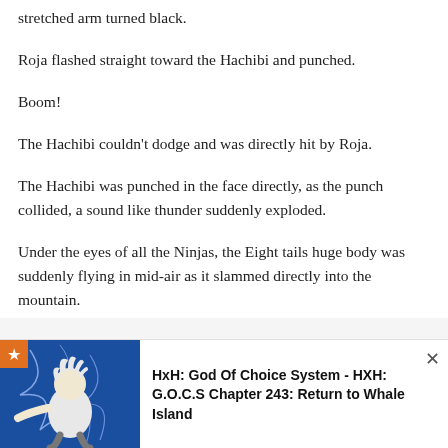stretched arm turned black.
Roja flashed straight toward the Hachibi and punched.
Boom!
The Hachibi couldn't dodge and was directly hit by Roja.
The Hachibi was punched in the face directly, as the punch collided, a sound like thunder suddenly exploded.
Under the eyes of all the Ninjas, the Eight tails huge body was suddenly flying in mid-air as it slammed directly into the mountain.
[Figure (illustration): Manga-style illustration of an anime character (white-haired fighter) on a dark blue background, with a star badge in the top-left corner.]
HxH: God Of Choice System - HXH: G.O.C.S Chapter 243: Return to Whale Island